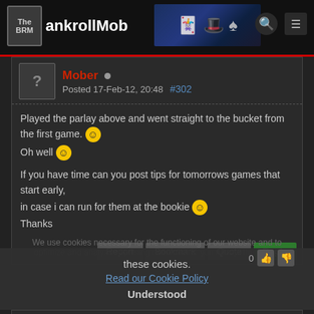The BankrollMob
Mober  Posted 17-Feb-12, 20:48  #302
Played the parlay above and went straight to the bucket from the first game. :) Oh well :)

If you have time can you post tips for tomorrows games that start early,
in case i can run for them at the bookie :)
Thanks
We use cookies necessary for the functioning of our website and to optimize and analyze. By using our website, you accept the use of these cookies.
Read our Cookie Policy
Understood
nuts1  Posted 18-Feb-12, 10:50
Ligue 1, France
Marseille - Valenciennes
Marseille win